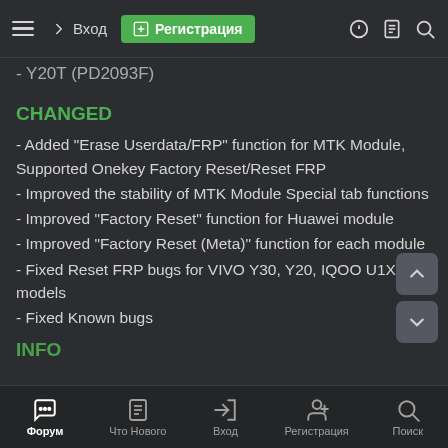Вход | Регистрация
- Y20T (PD2093F)
CHANGED
- Added "Erase Userdata/FRP" function for MTK Module, Supported Onekey Factory Reset/Reset FRP
- Improved the stability of MTK Module Special tab functions
- Improved "Factory Reset" function for Huawei module
- Improved "Factory Reset (Meta)" function for each module
- Fixed Reset FRP bugs for VIVO Y30, Y20, IQOO U1X etc models
- Fixed Known bugs
INFO
Форум | Что Нового | Вход | Регистрация | Поиск